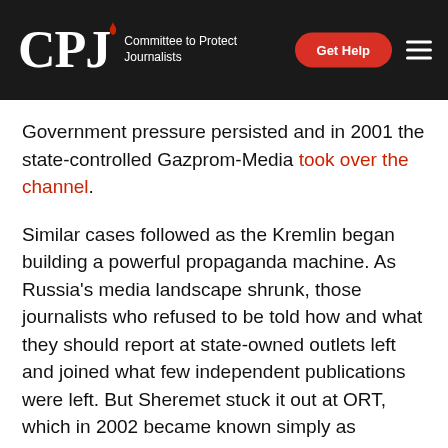CPJ Committee to Protect Journalists | Get Help
Government pressure persisted and in 2001 the state-controlled Gazprom-Media took over the channel.
Similar cases followed as the Kremlin began building a powerful propaganda machine. As Russia's media landscape shrunk, those journalists who refused to be told how and what they should report at state-owned outlets left and joined what few independent publications were left. But Sheremet stuck it out at ORT, which in 2002 became known simply as Channel One, and found a way to continue his work for the most part without censorship, friends and